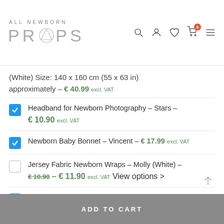ALL NEWBORN PROPS
(White) Size: 140 x 160 cm (55 x 63 in) approximately – € 40.99 excl. VAT
Headband for Newborn Photography – Stars – € 10.90 excl. VAT
Newborn Baby Bonnet – Vincent – € 17.99 excl. VAT
Jersey Fabric Newborn Wraps – Molly (White) – € 10.90 – € 11.90 excl. VAT View options >
Newborn Girl Photo Outfit – Romper Enore – € 39.99 € 31.99 excl. VAT
ADD TO CART